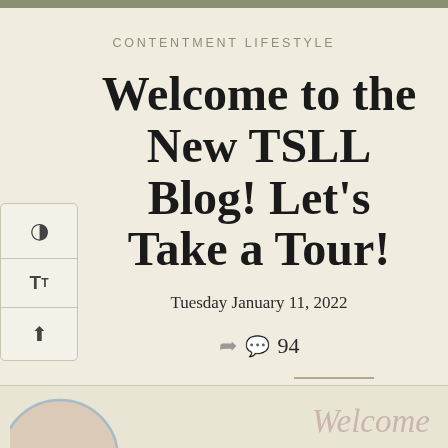CONTENTMENT LIFESTYLE
Welcome to the New TSLL Blog! Let's Take a Tour!
Tuesday January 11, 2022
94
[Figure (screenshot): Bottom decorative section with a cropped circular image on the left and italic 'Welcome' text on the right, on a light beige background]